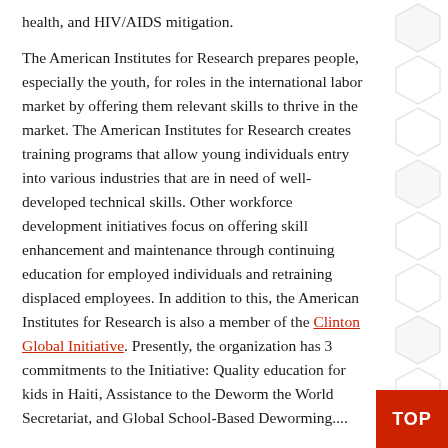health, and HIV/AIDS mitigation.
The American Institutes for Research prepares people, especially the youth, for roles in the international labor market by offering them relevant skills to thrive in the market. The American Institutes for Research creates training programs that allow young individuals entry into various industries that are in need of well-developed technical skills. Other workforce development initiatives focus on offering skill enhancement and maintenance through continuing education for employed individuals and retraining displaced employees. In addition to this, the American Institutes for Research is also a member of the Clinton Global Initiative. Presently, the organization has 3 commitments to the Initiative: Quality education for kids in Haiti, Assistance to the Deworm the World Secretariat, and Global School-Based Deworming....